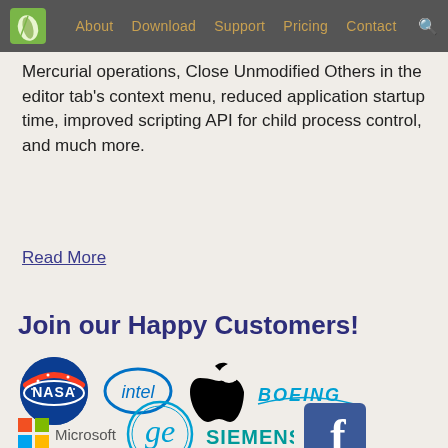About  Download  Support  Pricing  Contact
Mercurial operations, Close Unmodified Others in the editor tab's context menu, reduced application startup time, improved scripting API for child process control, and much more.
Read More
Join our Happy Customers!
[Figure (logo): Row of customer logos: NASA, Intel, Apple, Boeing]
[Figure (logo): Row of customer logos: Microsoft, GE, Siemens, Facebook]